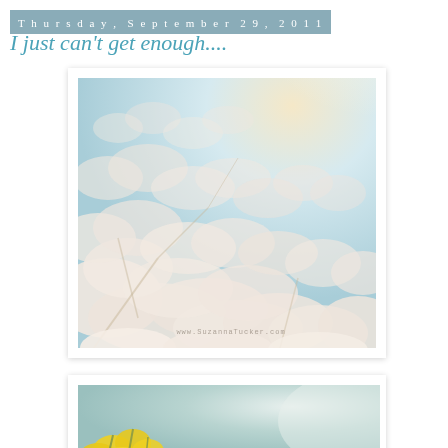Thursday, September 29, 2011
I just can't get enough....
[Figure (photo): Dreamy vintage-style photograph of white cherry blossoms against a pale blue sky, overexposed and soft, with watermark text 'www.SuzannaTucker.com' at the bottom]
[Figure (photo): Partial view of a second photograph showing yellow flowers against a soft teal/blue background, cropped at bottom of page]